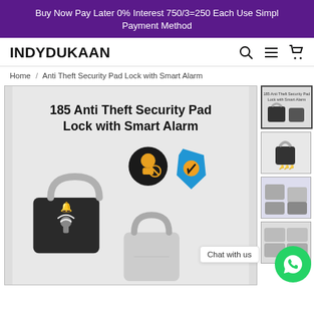Buy Now Pay Later 0% Interest 750/3=250 Each Use Simpl Payment Method
INDYDUKAAN
Home / Anti Theft Security Pad Lock with Smart Alarm
[Figure (photo): Product photo of 185 Anti Theft Security Pad Lock with Smart Alarm — shows a large black padlock with alarm symbols, anti-theft icon (dark circle with person/no icon), and a blue shield icon. Below are two padlocks, one open shackle. Multiple product thumbnail images shown on the right side.]
Chat with us